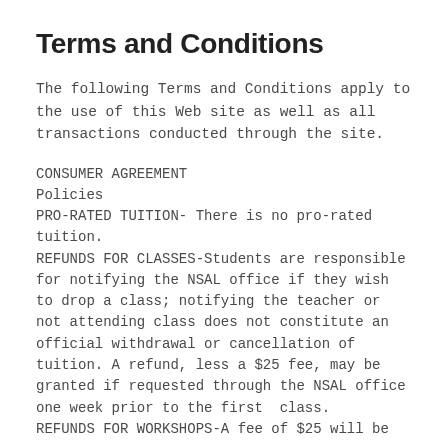Terms and Conditions
The following Terms and Conditions apply to the use of this Web site as well as all transactions conducted through the site.
CONSUMER AGREEMENT
Policies
PRO-RATED TUITION- There is no pro-rated tuition.
REFUNDS FOR CLASSES-Students are responsible for notifying the NSAL office if they wish to drop a class; notifying the teacher or not attending class does not constitute an official withdrawal or cancellation of tuition. A refund, less a $25 fee, may be granted if requested through the NSAL office one week prior to the first  class.
REFUNDS FOR WORKSHOPS-A fee of $25 will be